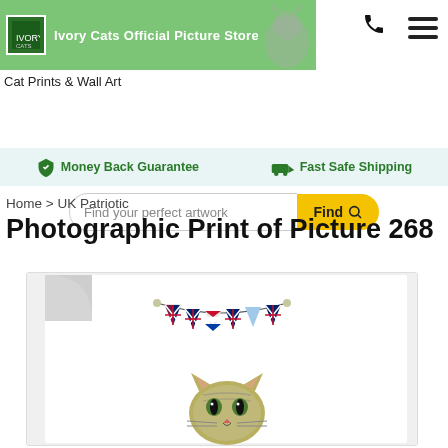[Figure (screenshot): Ivory Cats Official Picture Store green header banner with store logo and cat image on right]
Cat Prints & Wall Art
[Figure (screenshot): Search bar with text 'Find your perfect artwork' and yellow 'Find' button with magnifying glass icon]
Money Back Guarantee    Fast Safe Shipping
Home > UK Patriotic
Photographic Print of Picture 268
[Figure (photo): Product photo of a cat illustration beneath UK patriotic bunting flags, shown on a white curled-corner print]